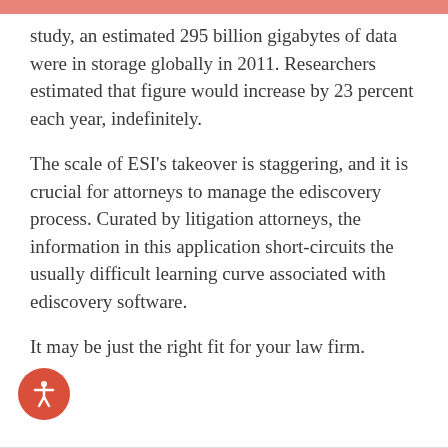study, an estimated 295 billion gigabytes of data were in storage globally in 2011. Researchers estimated that figure would increase by 23 percent each year, indefinitely.
The scale of ESI's takeover is staggering, and it is crucial for attorneys to manage the ediscovery process. Curated by litigation attorneys, the information in this application short-circuits the usually difficult learning curve associated with ediscovery software.
It may be just the right fit for your law firm.